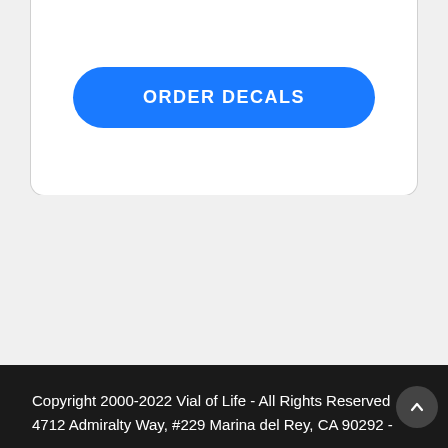[Figure (screenshot): Blue rounded button labeled ORDER DECALS inside a white card area with rounded bottom corners]
Copyright 2000-2022 Vial of Life - All Rights Reserved
4712 Admiralty Way, #229 Marina del Rey, CA 90292 -